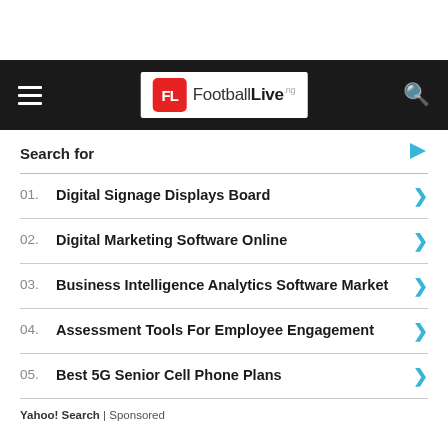FootballLive.ng
Search for
01. Digital Signage Displays Board
02. Digital Marketing Software Online
03. Business Intelligence Analytics Software Market
04. Assessment Tools For Employee Engagement
05. Best 5G Senior Cell Phone Plans
Yahoo! Search | Sponsored